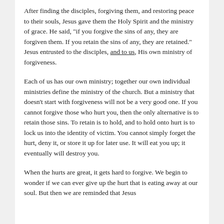After finding the disciples, forgiving them, and restoring peace to their souls, Jesus gave them the Holy Spirit and the ministry of grace. He said, "if you forgive the sins of any, they are forgiven them. If you retain the sins of any, they are retained." Jesus entrusted to the disciples, and to us, His own ministry of forgiveness.
Each of us has our own ministry; together our own individual ministries define the ministry of the church. But a ministry that doesn't start with forgiveness will not be a very good one. If you cannot forgive those who hurt you, then the only alternative is to retain those sins. To retain is to hold, and to hold onto hurt is to lock us into the identity of victim. You cannot simply forget the hurt, deny it, or store it up for later use. It will eat you up; it eventually will destroy you.
When the hurts are great, it gets hard to forgive. We begin to wonder if we can ever give up the hurt that is eating away at our soul. But then we are reminded that Jesus gave the Holy Spirit before He called us to forgiving. The...